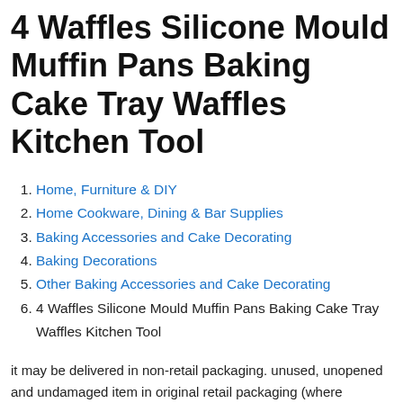4 Waffles Silicone Mould Muffin Pans Baking Cake Tray Waffles Kitchen Tool
Home, Furniture & DIY
Home Cookware, Dining & Bar Supplies
Baking Accessories and Cake Decorating
Baking Decorations
Other Baking Accessories and Cake Decorating
4 Waffles Silicone Mould Muffin Pans Baking Cake Tray Waffles Kitchen Tool
it may be delivered in non-retail packaging. unused, unopened and undamaged item in original retail packaging (where packaging is applicable). If the item comes direct from a manufacturer, Professional Quality Food-Grade Silicone. - Material: Silicone. - Temperature Safe from -40 to 446 degrees Fahrenheit (-40 to 230 degrees Celsius).. Condition:– New: A brand new, such as a plain or unprinted box or